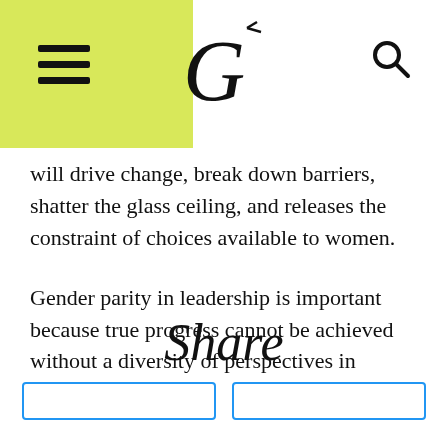G [logo] [hamburger menu] [search icon]
will drive change, break down barriers, shatter the glass ceiling, and releases the constraint of choices available to women.
Gender parity in leadership is important because true progress cannot be achieved without a diversity of perspectives in leadership roles.
Share